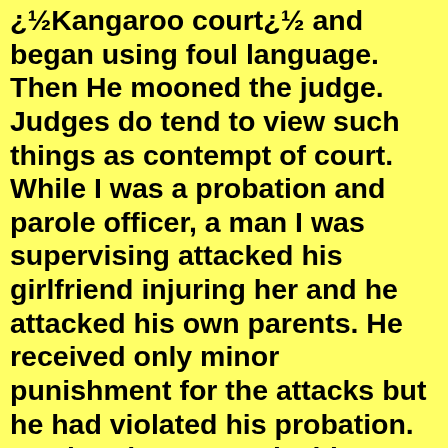¿½Kangaroo court¿½ and began using foul language. Then He mooned the judge. Judges do tend to view such things as contempt of court. While I was a probation and parole officer, a man I was supervising attacked his girlfriend injuring her and he attacked his own parents. He received only minor punishment for the attacks but he had violated his probation. In a hearing to revoke his probation, the judge was very kind and allowed him three days to take care of things prior to going to prison. Just after the judge left the courtroom, the man began using foul language cursing the judge. The judge was told and he reentered the courtroom calling the